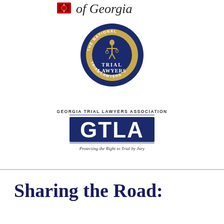[Figure (logo): University of Georgia logo — partial text reading 'of Georgia' with book icon]
[Figure (logo): The National Trial Lawyers circular seal logo with gold and navy colors, figure holding scales of justice in center]
[Figure (logo): Georgia Trial Lawyers Association (GTLA) logo with text 'Protecting the Right to Trial by Jury']
Sharing the Road: